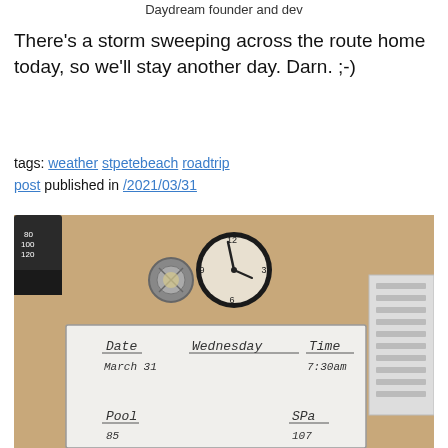Daydream founder and dev
There's a storm sweeping across the route home today, so we'll stay another day. Darn. ;-)
tags: weather stpetebeach roadtrip post published in /2021/03/31
[Figure (photo): Photo of a wall with a whiteboard showing Date March 31, Wednesday, Time 7:30am, Pool 85, Spa 107. A round clock on the wall shows approximately 11:25. A nautical-style light fixture is visible.]